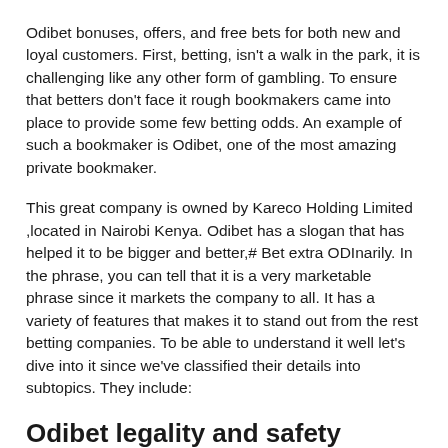Odibet bonuses, offers, and free bets for both new and loyal customers. First, betting, isn't a walk in the park, it is challenging like any other form of gambling. To ensure that betters don't face it rough bookmakers came into place to provide some few betting odds. An example of such a bookmaker is Odibet, one of the most amazing private bookmaker.
This great company is owned by Kareco Holding Limited ,located in Nairobi Kenya. Odibet has a slogan that has helped it to be bigger and better,# Bet extra ODInarily. In the phrase, you can tell that it is a very marketable phrase since it markets the company to all. It has a variety of features that makes it to stand out from the rest betting companies. To be able to understand it well let's dive into it since we've classified their details into subtopics. They include:
Odibet legality and safety